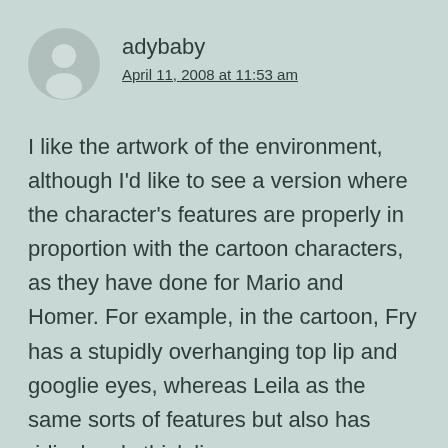adybaby
April 11, 2008 at 11:53 am
I like the artwork of the environment, although I'd like to see a version where the character's features are properly in proportion with the cartoon characters, as they have done for Mario and Homer. For example, in the cartoon, Fry has a stupidly overhanging top lip and googlie eyes, whereas Leila as the same sorts of features but also has ridiculously thick lips.